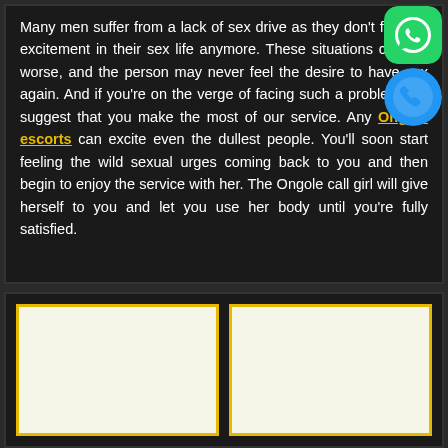Many men suffer from a lack of sex drive as they don't feel the excitement in their sex life anymore. These situations can get worse, and the person may never feel the desire to have sex again. And if you're on the verge of facing such a problem, we suggest that you make the most of our service. Any Ongole escorts can excite even the dullest people. You'll soon start feeling the wild sexual urges coming back to you and then begin to enjoy the service with her. The Ongole call girl will give herself to you and let you use her body until you're fully satisfied.
[Figure (photo): Two blank/white image placeholder boxes with yellow borders on dark background]
[Figure (photo): Second blank/white image placeholder box with yellow border]